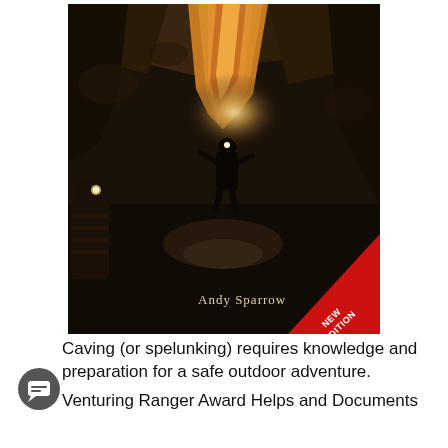[Figure (photo): Book cover showing cave explorers (spelunkers) inside a dark cave with dramatic lighting. One figure is silhouetted in the background against bright light, and another person with a headlamp is visible in the foreground left. Orange/golden rock formations hang from the cave ceiling. The author name 'Andy Sparrow' appears on the cover, and a red diagonal banner in the lower right reads 'NEW EDITION'.]
Caving (or spelunking) requires knowledge and preparation for a safe outdoor adventure.
Venturing Ranger Award Helps and Documents